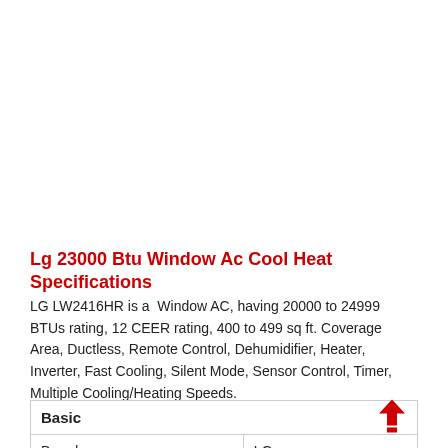Lg 23000 Btu Window Ac Cool Heat Specifications
LG LW2416HR is a Window AC, having 20000 to 24999 BTUs rating, 12 CEER rating, 400 to 499 sq ft. Coverage Area, Ductless, Remote Control, Dehumidifier, Heater, Inverter, Fast Cooling, Silent Mode, Sensor Control, Timer, Multiple Cooling/Heating Speeds.
| Basic |  |
| --- | --- |
| Brand | LG |